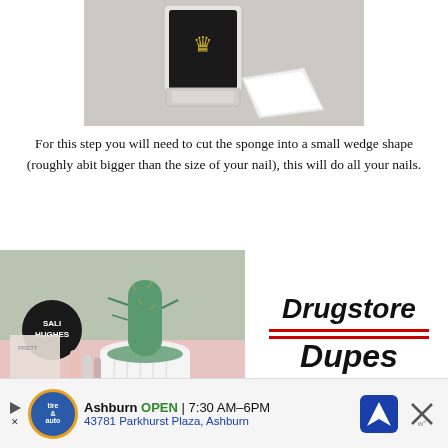[Figure (photo): Partial view of a black nail polish bottle with a gold crown logo and a white cotton pad/sponge wedge on a light grey surface]
For this step you will need to cut the sponge into a small wedge shape (roughly abit bigger than the size of your nail), this will do all your nails.
[Figure (photo): Flat lay of beauty products including a Sali Hughes book, a cactus in a white ribbed pot, and various pink/rose gold skincare/makeup items on a pink surface]
[Figure (infographic): Text graphic reading 'Drugstore Dupes' in bold italic with two red horizontal lines]
[Figure (other): Advertisement banner for Tire and Auto in Ashburn showing OPEN 7:30AM-6PM, address 43781 Parkhurst Plaza Ashburn, with navigation icon and close button]